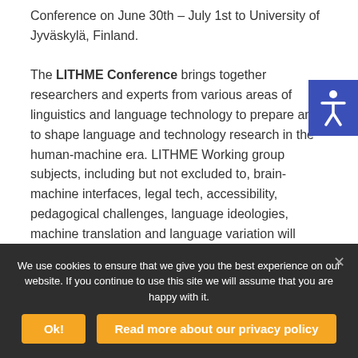Conference on June 30th – July 1st to University of Jyväskylä, Finland. The LITHME Conference brings together researchers and experts from various areas of linguistics and language technology to prepare and to shape language and technology research in the human-machine era. LITHME Working group subjects, including but not excluded to, brain-machine interfaces, legal tech, accessibility, pedagogical challenges, language ideologies, machine translation and language variation will shine a critical light on new technologies. The
[Figure (other): Accessibility icon button — blue square with white person/accessibility symbol]
We use cookies to ensure that we give you the best experience on our website. If you continue to use this site we will assume that you are happy with it.